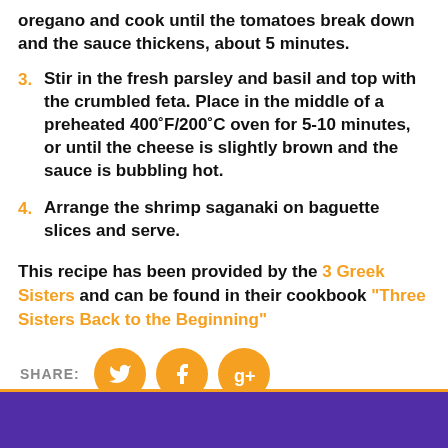oregano and cook until the tomatoes break down and the sauce thickens, about 5 minutes.
3. Stir in the fresh parsley and basil and top with the crumbled feta. Place in the middle of a preheated 400°F/200°C oven for 5-10 minutes, or until the cheese is slightly brown and the sauce is bubbling hot.
4. Arrange the shrimp saganaki on baguette slices and serve.
This recipe has been provided by the 3 Greek Sisters and can be found in their cookbook "Three Sisters Back to the Beginning"
SHARE: [Twitter] [Facebook] [Google+]